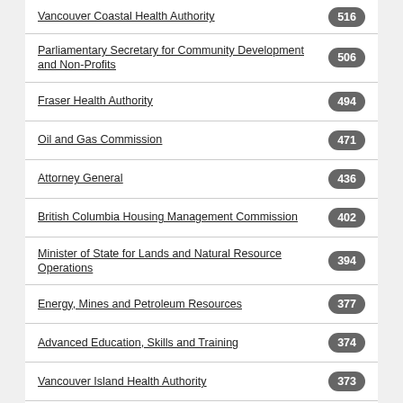Vancouver Coastal Health Authority
Parliamentary Secretary for Community Development and Non-Profits
Fraser Health Authority
Oil and Gas Commission
Attorney General
British Columbia Housing Management Commission
Minister of State for Lands and Natural Resource Operations
Energy, Mines and Petroleum Resources
Advanced Education, Skills and Training
Vancouver Island Health Authority